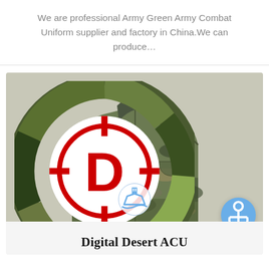We are professional Army Green Army Combat Uniform supplier and factory in China.We can produce...
[Figure (photo): Product card showing a camouflage military combat jacket (Digital Desert ACU) with DEEKON brand logo in upper left, a ship icon button at bottom center, and an anchor floating action button at bottom right.]
Digital Desert ACU